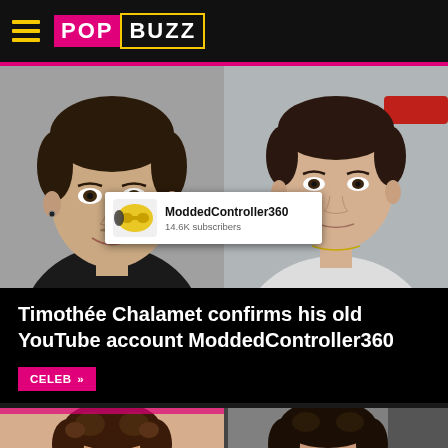PopBuzz
[Figure (photo): Split photo: left shows Timothée Chalamet as a young man smiling, right shows him as a child/teenager. A YouTube channel card overlay reads 'ModdedController360, 14.6K subscribers'.]
Timothée Chalamet confirms his old YouTube account ModdedController360
CELEB »
[Figure (photo): Two side-by-side photos of Timothée Chalamet at different events, both showing his face and curly dark hair.]